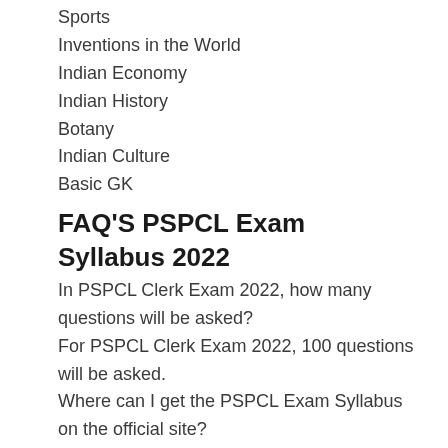Sports
Inventions in the World
Indian Economy
Indian History
Botany
Indian Culture
Basic GK
FAQ'S PSPCL Exam Syllabus 2022
In PSPCL Clerk Exam 2022, how many questions will be asked?
For PSPCL Clerk Exam 2022, 100 questions will be asked.
Where can I get the PSPCL Exam Syllabus on the official site?
PSPCL Exam Syllabus may be found at pspcl.in, which is the official website.
What is the PSPCL Exam 2022 selection procedure?